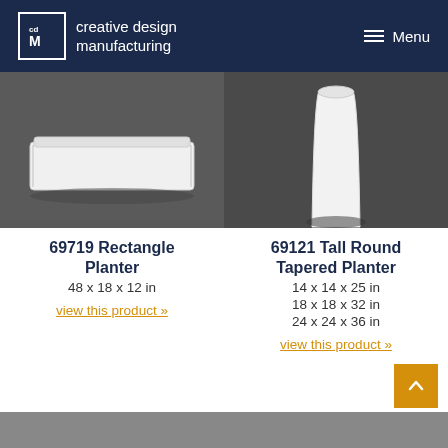creative design manufacturing | Menu
[Figure (photo): White rectangular planter on gray background]
69719 Rectangle Planter
48 x 18 x 12 in
view this product »
[Figure (photo): White tall round tapered planter on gray background]
69121 Tall Round Tapered Planter
14 x 14 x 25 in
18 x 18 x 32 in
24 x 24 x 36 in
view this product »
[Figure (photo): Bottom partial product image left]
[Figure (photo): Bottom partial product image right]